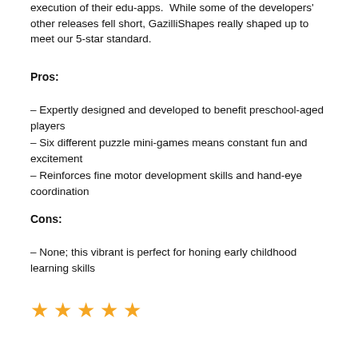execution of their edu-apps.  While some of the developers'  other releases fell short, GazilliShapes really shaped up to meet our 5-star standard.
Pros:
– Expertly designed and developed to benefit preschool-aged players
– Six different puzzle mini-games means constant fun and excitement
– Reinforces fine motor development skills and hand-eye coordination
Cons:
– None; this vibrant is perfect for honing early childhood learning skills
[Figure (other): Five gold/orange star rating icons]